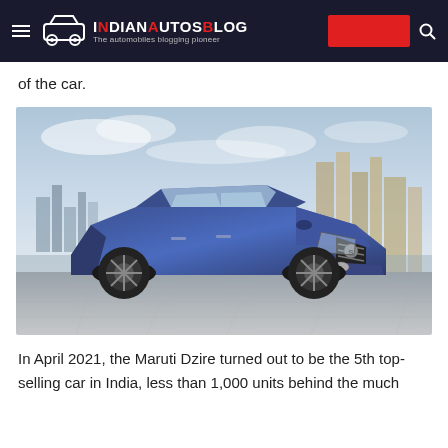IndianAutosBlog – The automobiles blogging pioneer
of the car.
[Figure (photo): A blue Maruti Suzuki Dzire sedan parked on cobblestone ground with a city skyline in the background.]
In April 2021, the Maruti Dzire turned out to be the 5th top-selling car in India, less than 1,000 units behind the much